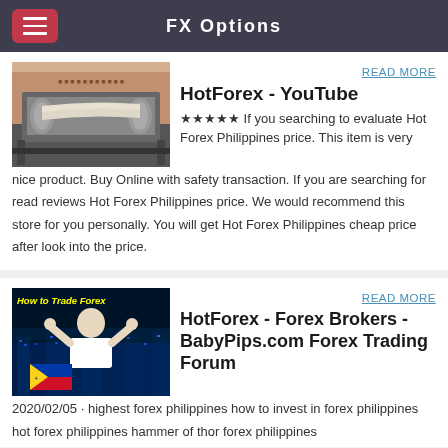FX Options
[Figure (photo): Industrial machinery with sheets/paper rolling through rollers]
READ MORE
HotForex - YouTube
★★★★★ If you searching to evaluate Hot Forex Philippines price. This item is very nice product. Buy Online with safety transaction. If you are searching for read reviews Hot Forex Philippines price. We would recommend this store for you personally. You will get Hot Forex Philippines cheap price after look into the price.
[Figure (photo): How to Trade Forex - person relaxing with city background and Philippine flag]
READ MORE
HotForex - Forex Brokers - BabyPips.com Forex Trading Forum
2020/02/05 · highest forex philippines how to invest in forex philippines hot forex philippines hammer of thor forex philippines